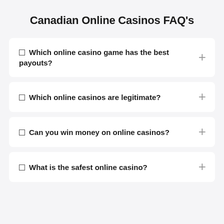Canadian Online Casinos FAQ's
Which online casino game has the best payouts?
Which online casinos are legitimate?
Can you win money on online casinos?
What is the safest online casino?